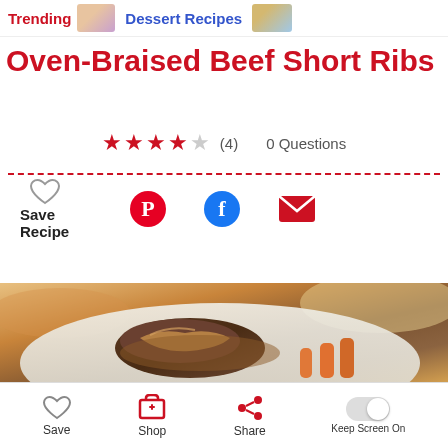Trending | Dessert Recipes
Oven-Braised Beef Short Ribs
★★★★☆ (4)   0 Questions
[Figure (photo): Photo of braised beef short ribs on a white plate with carrots and caramelized onions]
Save  Shop  Share  Keep Screen On